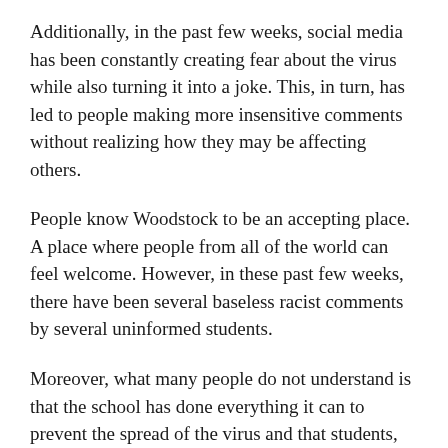Additionally, in the past few weeks, social media has been constantly creating fear about the virus while also turning it into a joke. This, in turn, has led to people making more insensitive comments without realizing how they may be affecting others.
People know Woodstock to be an accepting place. A place where people from all of the world can feel welcome. However, in these past few weeks, there have been several baseless racist comments by several uninformed students.
Moreover, what many people do not understand is that the school has done everything it can to prevent the spread of the virus and that students, no matter what part of the world they are from, have been monitored by the health center.